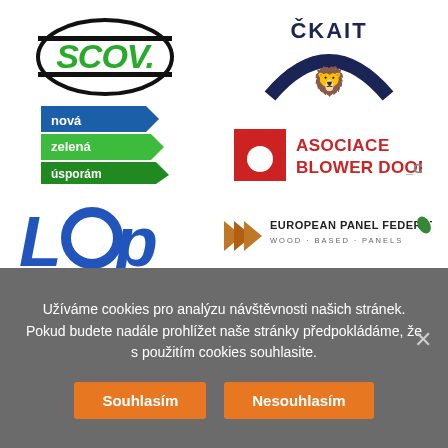[Figure (logo): SCOV. logo - green bold letters inside black ellipse/circle outline]
[Figure (logo): Nová zelená úsporám logo - three colored arrow bands (blue, green, darker green) with Czech text]
[Figure (logo): LOP - Česká komora lehkých obvodových pláštu logo in blue italic letters with subtitle]
[Figure (logo): ČKAIT logo - dark blue arc with lion emblem]
[Figure (logo): Asociace Blower Door CZ logo - red square with circle, bold red text]
[Figure (logo): European Panel Federation - Wood-based Panels logo with orange geometric mark]
Užíváme cookies pro analýzu návštěvnosti našich stránek. Pokud budete nadále prohlížet naše stránky předpokládáme, že s použitím cookies souhlasite.
Souhlasím
Nesouhlasím